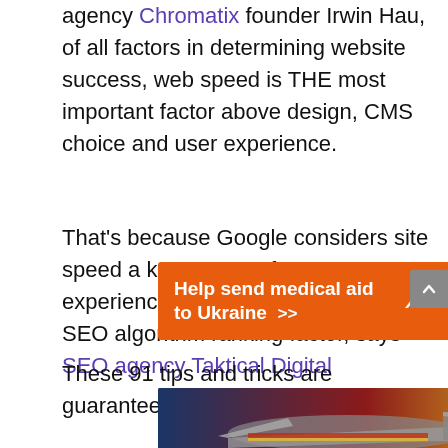agency Chromatix founder Irwin Hau, of all factors in determining website success, web speed is THE most important factor above design, CMS choice and user experience.
That's because Google considers site speed a key aspect of a great user experience, making it an important SEO algorithm ranking factor, says SEO agency Taktical Digital
[Figure (other): Orange advertisement banner reading 'Help send medical aid to Ukraine >>' with Direct Relief logo on white background]
These 91 tips and tricks are guaranteed to help
[Figure (photo): Photograph of an airplane on tarmac with cargo, overlaid with text 'WITHOUT REGARD TO POLITICS, RELIGION, OR ABILITY TO PAY']